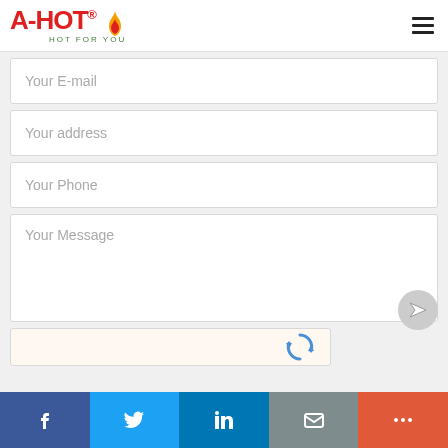[Figure (logo): A-HOT logo with flame icon and tagline HOT FOR YOU]
Your E-mail
Your address
Your Phone
Your Message
[Figure (other): reCAPTCHA widget with spinning arrows icon]
[Figure (other): Social share bar with Facebook, Twitter, LinkedIn, Email, and More buttons]